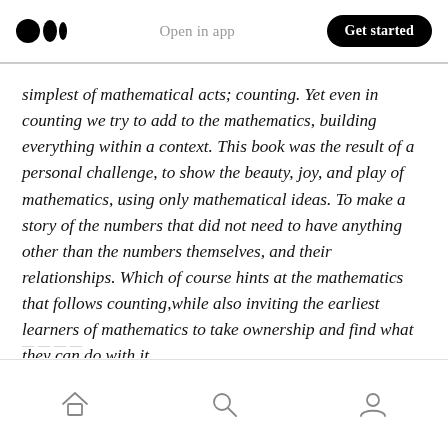Medium logo | Open in app | Get started
simplest of mathematical acts; counting. Yet even in counting we try to add to the mathematics, building everything within a context. This book was the result of a personal challenge, to show the beauty, joy, and play of mathematics, using only mathematical ideas. To make a story of the numbers that did not need to have anything other than the numbers themselves, and their relationships. Which of course hints at the mathematics that follows counting, while also inviting the earliest learners of mathematics to take ownership and find what they can do with it.
Home | Search | Profile